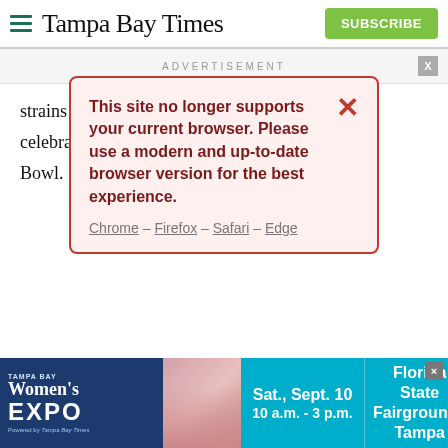Tampa Bay Times | SUBSCRIBE
ADVERTISEMENT
[Figure (screenshot): Browser compatibility warning popup with red border on pink background: 'This site no longer supports your current browser. Please use a modern and up-to-date browser version for the best experience. Chrome – Firefox – Safari – Edge']
strains of ... ings celebrati... e Super Bowl.
“The media is worried about that, obviously,” DeSantis said during a news conference in Venice.
“You don’t care as much when it’s a peaceful protest,” he continued. “You don’t care as much if you’re celebrating a
[Figure (infographic): Tampa Bay Women's Expo advertisement banner: Sat., Sept. 10, 10 a.m. - 3 p.m., Florida State Fairgrounds Tampa]